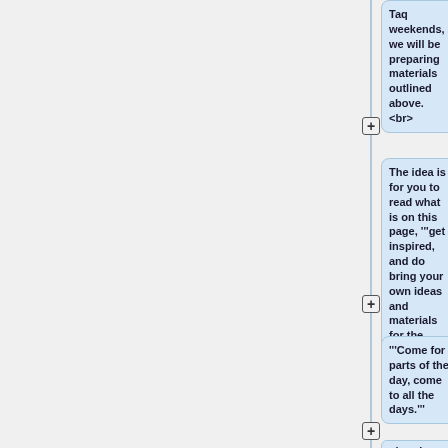Taq weekends, we will be preparing materials outlined above. <br>
The idea is for you to read what is on this page, '''get inspired, and do bring your own ideas and materials for the session'''! <br>
'''Come for parts of the day, come to all the days.'''
<br><br>